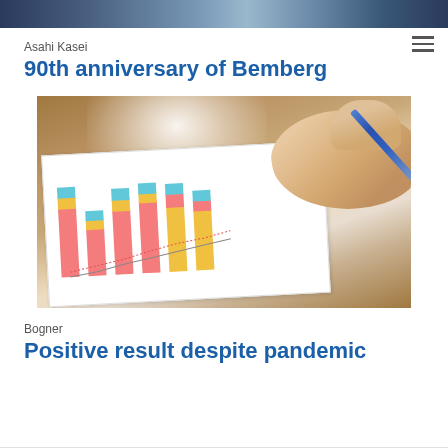[Figure (photo): Top banner image showing a dark blue/navy abstract background, cropped at top of page]
Asahi Kasei
90th anniversary of Bemberg
[Figure (photo): Photo of a hand holding a blue pen pointing at a stacked bar chart printed on paper, on a wooden desk background]
Bogner
Positive result despite pandemic